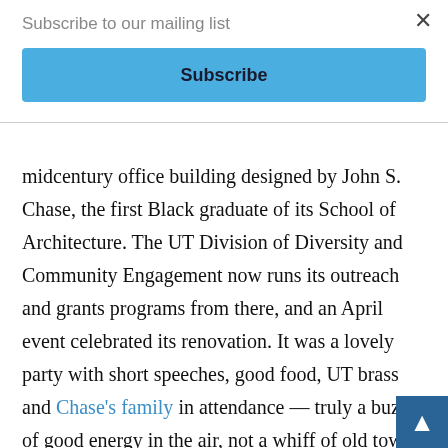Subscribe to our mailing list
Subscribe
midcentury office building designed by John S. Chase, the first Black graduate of its School of Architecture. The UT Division of Diversity and Community Engagement now runs its outreach and grants programs from there, and an April event celebrated its renovation. It was a lovely party with short speeches, good food, UT brass and Chase's family in attendance — truly a buzz of good energy in the air, not a whiff of old town and gown frictions. Strains of light jazz helped drown out any cynicism